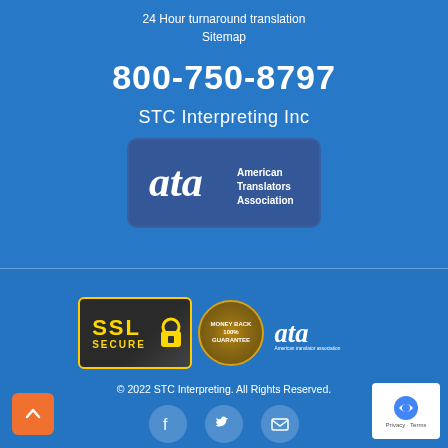24 Hour turnaround translation
Sitemap
800-750-8797
STC Interpreting Inc
[Figure (logo): American Translators Association (ATA) badge/logo on dark blue background]
[Figure (logo): SSL Secure badge, Money Back Guarantee badge, and ATA American translator association logo in footer]
© 2022 STC Interpreting. All Rights Reserved.
[Figure (illustration): Social media icons: Facebook, Twitter, Email]
[Figure (logo): reCAPTCHA Privacy - Terms badge]